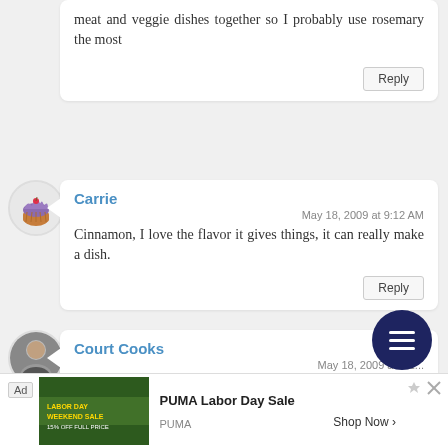meat and veggie dishes together so I probably use rosemary the most
Reply
Carrie
May 18, 2009 at 9:12 AM
Cinnamon, I love the flavor it gives things, it can really make a dish.
Reply
Court Cooks
May 18, 2009 at 9:1...
I would say the yellow curry would get some good use in our
Ad PUMA Labor Day Sale PUMA Shop Now